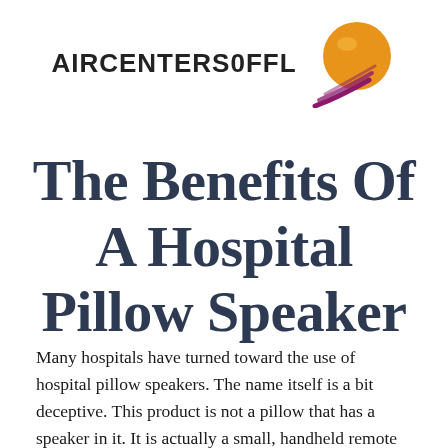[Figure (logo): AIRCENTERSOFFL logo with stylized orange sphere and purple swoosh lines]
The Benefits Of A Hospital Pillow Speaker
Many hospitals have turned toward the use of hospital pillow speakers. The name itself is a bit deceptive. This product is not a pillow that has a speaker in it. It is actually a small, handheld remote that features many buttons on it that are useful for a